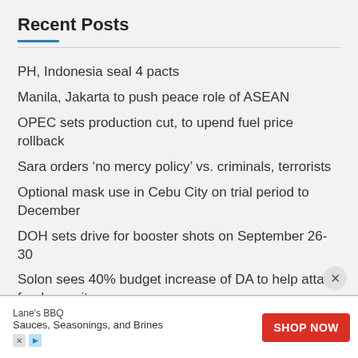Recent Posts
PH, Indonesia seal 4 pacts
Manila, Jakarta to push peace role of ASEAN
OPEC sets production cut, to upend fuel price rollback
Sara orders ‘no mercy policy’ vs. criminals, terrorists
Optional mask use in Cebu City on trial period to December
DOH sets drive for booster shots on September 26-30
Solon sees 40% budget increase of DA to help attain food security
Police identify killed pharma exec, KFR members
[Figure (other): Advertisement banner for Lane's BBQ - Sauces, Seasonings, and Brines with SHOP NOW button]